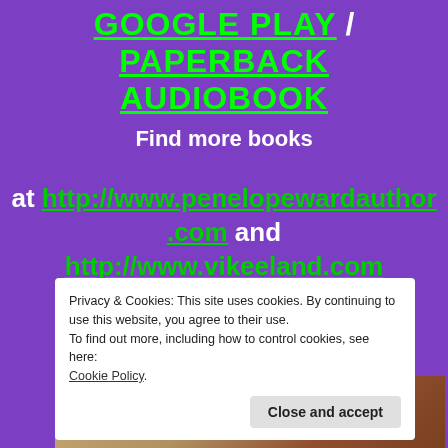GOOGLE PLAY / PAPERBACK AUDIOBOOK
Find more books
at http://www.penelopewardauthor.com and http://www.vikeeland.com
Privacy & Cookies: This site uses cookies. By continuing to use this website, you agree to their use.
To find out more, including how to control cookies, see here:
Cookie Policy
Close and accept
[Figure (photo): Two smiling women photographed together, partial view at bottom of page]